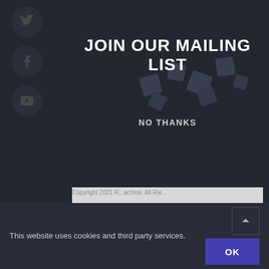JOIN OUR MAILING LIST
NO THANKS
Your Full Name
Email
SIGN UP
Copyright 2021 R...achine. All Rie...
This website uses cookies and third party services.
OK